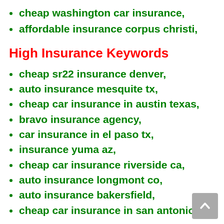cheap washington car insurance,
affordable insurance corpus christi,
High Insurance Keywords
cheap sr22 insurance denver,
auto insurance mesquite tx,
cheap car insurance in austin texas,
bravo insurance agency,
car insurance in el paso tx,
insurance yuma az,
cheap car insurance riverside ca,
auto insurance longmont co,
auto insurance bakersfield,
cheap car insurance in san antonio,